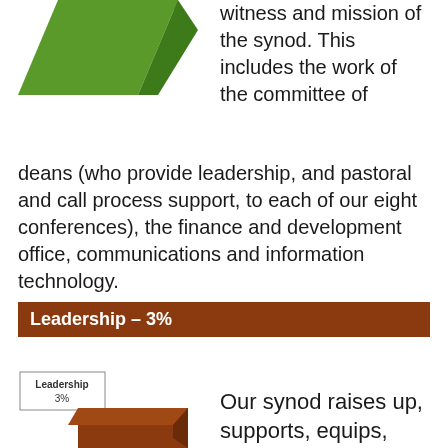[Figure (illustration): Green 3D block/wedge shape in upper left]
witness and mission of the synod. This includes the work of the committee of deans (who provide leadership, and pastoral and call process support, to each of our eight conferences), the finance and development office, communications and information technology.
Leadership – 3%
[Figure (other): Brown 3D wedge/corner shape at bottom left with a label box showing 'Leadership 3%']
Our synod raises up, supports, equips, connects